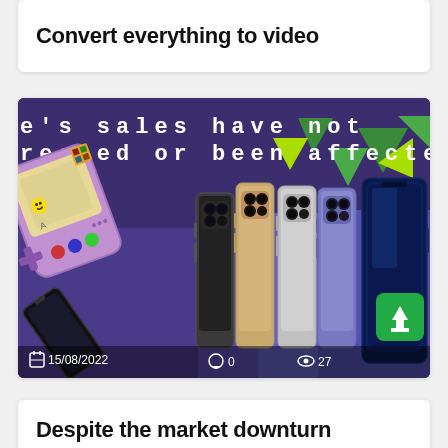Convert everything to video
[Figure (screenshot): Purple-background blog post thumbnail showing iPhones in multiple colors lined up, a purple Game Boy-style device on the left, a tilted smartphone on bottom-left, green triangle decorations, white pixel-font text reading 'e's sales have not reased or been affected', a green upload arrow button, date '15/08/2022', comment count '0', and view count '27'.]
Despite the market downturn